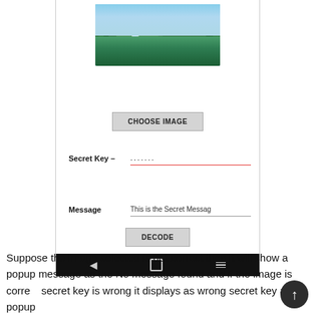[Figure (screenshot): Mobile app screenshot showing image steganography decode screen with a nature/waterfall image, Choose Image button, Secret Key field with dots (password), Message field with 'This is the Secret Messag', Decode button, and Android navigation bar.]
Suppose the Image selected is not correct then it will show a popup message as the No message found and if the image is correct secret key is wrong it displays as wrong secret key as popup